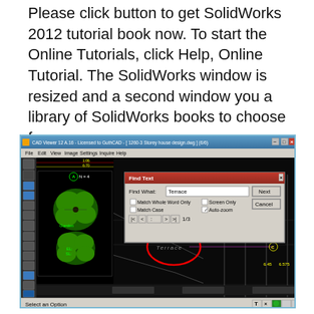Please click button to get SolidWorks 2012 tutorial book now. To start the Online Tutorials, click Help, Online Tutorial. The SolidWorks window is resized and a second window you a library of SolidWorks books to choose from..
[Figure (screenshot): CAD Viewer 12 A.16 software window showing a 3-storey house design DWG file with a Find Text dialog box open, searching for 'Terrace'. The drawing shows a plan view with green garden/tree shapes on the left and architectural lines on the right, with a red circle highlighting the word 'Terrace'.]